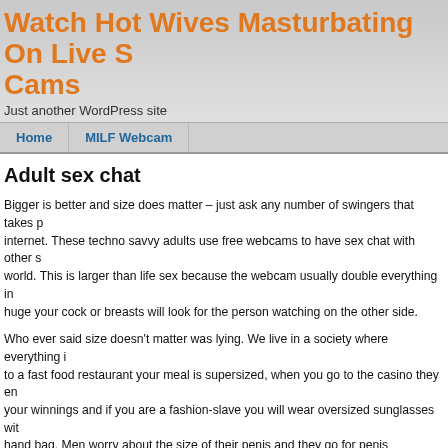Watch Hot Wives Masturbating On Live Sex Cams
Just another WordPress site
Home | MILF Webcam
Adult sex chat
Bigger is better and size does matter – just ask any number of swingers that takes part on the internet. These techno savvy adults use free webcams to have sex chat with other swingers around the world. This is larger than life sex because the webcam usually double everything in size, think how huge your cock or breasts will look for the person watching on the other side.
Who ever said size doesn't matter was lying. We live in a society where everything is supersized, to a fast food restaurant your meal is supersized, when you go to the casino they encourage doubling your winnings and if you are a fashion-slave you will wear oversized sunglasses with an oversized hand bag. Men worry about the size of their penis and they go for penis enlargement, women worry about breasts cup size and they go for plastic surgery. The size of your butt or abs is also something people are concerned with and they spend hours in the gym trying to perfect their bodies.
Adult xxx cams is the brilliant solution to everyone's size and body issues. If you meet someone in a bar and have sex with them, then you can't hide anything. The other person will see and touch every inch of your unperfected body. (and you know what they say about first impressions). If you met some on in an adult chat room and you start to get kinky by using the free webcam when the mood has to over, then you can manipulate what the other person sees of you. It's like waving a magic wand and making all your cellulite and fat disappear and only enhancing your good qualities.